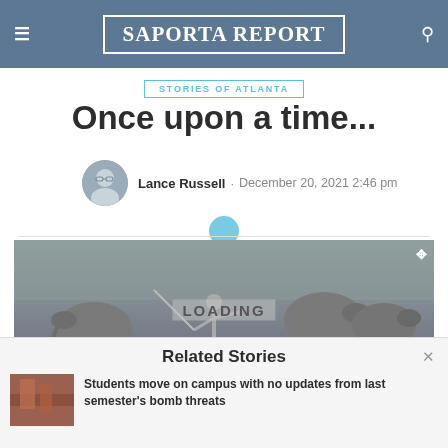SaportaReport
STORIES OF ATLANTA
Once upon a time...
Lance Russell · December 20, 2021 2:46 pm
[Figure (photo): A dark grayscale mural-style image showing a prehistoric scene with mammoths and a human figure, with a 'LOADING' overlay text]
Related Stories
Students move on campus with no updates from last semester's bomb threats